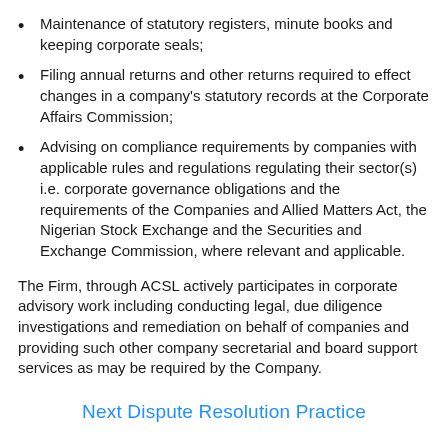Maintenance of statutory registers, minute books and keeping corporate seals;
Filing annual returns and other returns required to effect changes in a company's statutory records at the Corporate Affairs Commission;
Advising on compliance requirements by companies with applicable rules and regulations regulating their sector(s) i.e. corporate governance obligations and the requirements of the Companies and Allied Matters Act, the Nigerian Stock Exchange and the Securities and Exchange Commission, where relevant and applicable.
The Firm, through ACSL actively participates in corporate advisory work including conducting legal, due diligence investigations and remediation on behalf of companies and providing such other company secretarial and board support services as may be required by the Company.
Next Dispute Resolution Practice